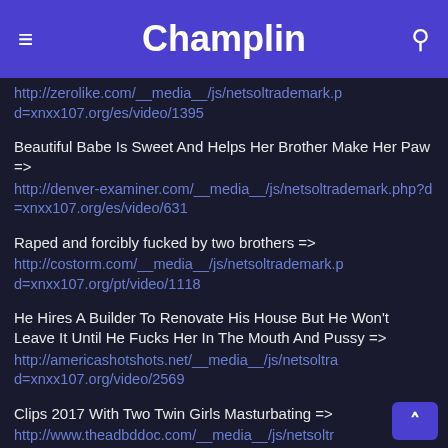Champlin
http://zerolike.com/__media__/js/netsoltrademark.php?d=xnxx107.org/es/video/1395
Beautiful Babe Is Sweet And Helps Her Brother Make Her Paw => http://denver-examiner.com/__media__/js/netsoltrademark.php?d=xnxx107.org/es/video/631
Raped and forcibly fucked by two brothers => http://costorm.com/__media__/js/netsoltrademark.php?d=xnxx107.org/pt/video/1118
He Hires A Builder To Renovate His House But He Won't Leave It Until He Fucks Her In The Mouth And Pussy => http://americashotshots.net/__media__/js/netsoltrad=xnxx107.org/video/2569
Clips 2017 With Two Twin Girls Masturbating => http://www.theadbddoc.com/__media__/js/netsolt